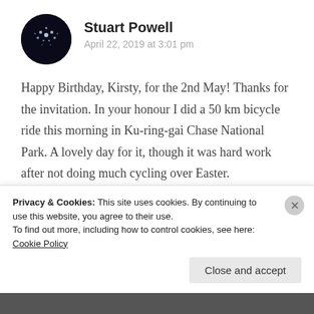Stuart Powell
April 22, 2019 at 3:01 pm
Happy Birthday, Kirsty, for the 2nd May! Thanks for the invitation. In your honour I did a 50 km bicycle ride this morning in Ku-ring-gai Chase National Park. A lovely day for it, though it was hard work after not doing much cycling over Easter.
★ Liked by 1 person
Reply
Privacy & Cookies: This site uses cookies. By continuing to use this website, you agree to their use.
To find out more, including how to control cookies, see here: Cookie Policy
Close and accept